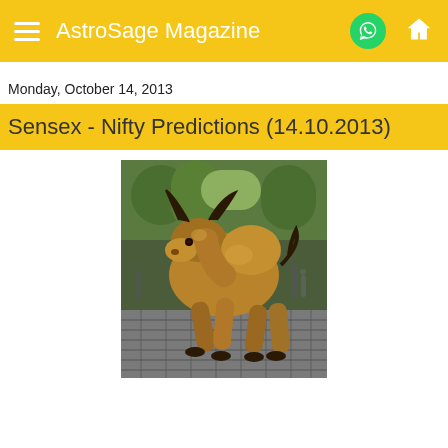AstroSage Magazine
Monday, October 14, 2013
Sensex - Nifty Predictions (14.10.2013)
[Figure (photo): Bronze charging bull statue (Charging Bull of Wall Street) on cobblestone street with trees in background]